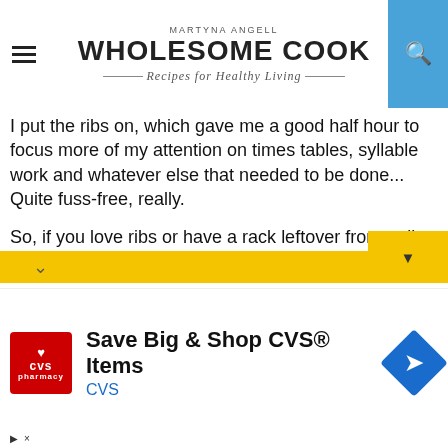MARTYNA ANGELL — WHOLESOME COOK — Recipes for Healthy Living
I put the ribs on, which gave me a good half hour to focus more of my attention on times tables, syllable work and whatever else that needed to be done... Quite fuss-free, really.
So, if you love ribs or have a rack leftover from a rib feast that you'd like to turn into a packed lunch or dinner the next day, I think you will thoroughly enjoy this serving idea. Roasted chicken, or slow roasted meats will work here as well, so don't feel limited by the ribs only. Even veggies are perfect if you'd like a Meatless Monday vegetarian version. If you can't get Anathoth relish where you are, any natural spiced re...
[Figure (other): Advertisement banner: CVS Pharmacy logo with text 'Save Big & Shop CVS® Items' and CVS brand name with navigation arrow icon]